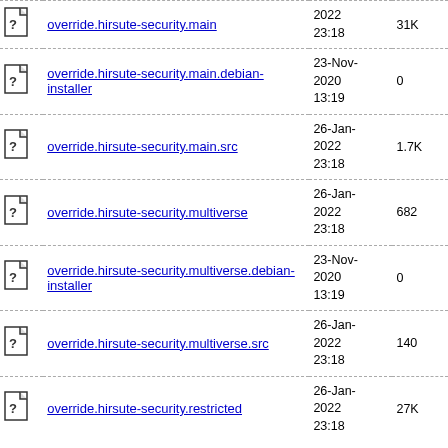| Icon | Name | Date | Size |
| --- | --- | --- | --- |
| [?] | override.hirsute-security.main | 2022 23:18 | 31K |
| [?] | override.hirsute-security.main.debian-installer | 23-Nov-2020 13:19 | 0 |
| [?] | override.hirsute-security.main.src | 26-Jan-2022 23:18 | 1.7K |
| [?] | override.hirsute-security.multiverse | 26-Jan-2022 23:18 | 682 |
| [?] | override.hirsute-security.multiverse.debian-installer | 23-Nov-2020 13:19 | 0 |
| [?] | override.hirsute-security.multiverse.src | 26-Jan-2022 23:18 | 140 |
| [?] | override.hirsute-security.restricted | 26-Jan-2022 23:18 | 27K |